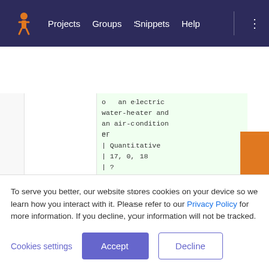Projects  Groups  Snippets  Help
[Figure (screenshot): GitLab code diff view showing added lines in green. Lines visible include text about 'an electric water-heater and an air-conditioner', followed by '| Quantitative', '| 17, 0, 18', '| ?', '|', then numbered lines 41-45 with '+' markers showing: 41 +, 42 + ---, 43 +, 44 + Note:, 45 + (global_active_p]
To serve you better, our website stores cookies on your device so we learn how you interact with it. Please refer to our Privacy Policy for more information. If you decline, your information will not be tracked.